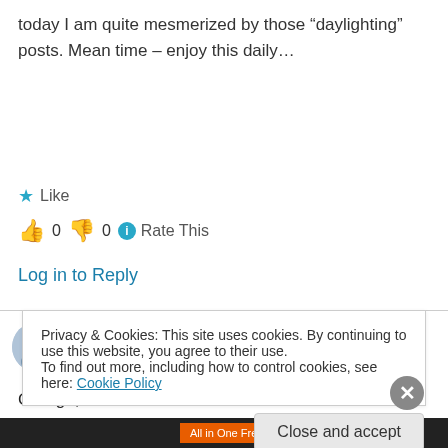today I am quite mesmerized by those “daylighting” posts. Mean time – enjoy this daily…
★ Like
👍 0 👎 0 ⓘ Rate This
Log in to Reply
Charles Savage on April 11, 2004 at 8:13 pm
George,
Privacy & Cookies: This site uses cookies. By continuing to use this website, you agree to their use.
To find out more, including how to control cookies, see here: Cookie Policy
Close and accept